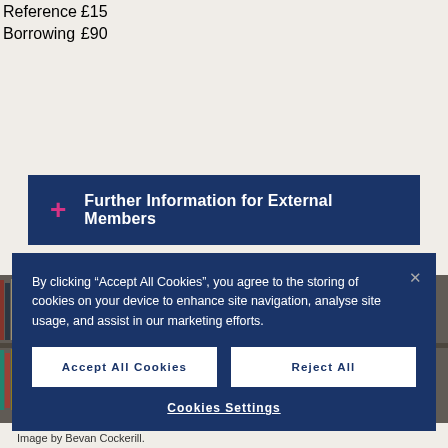| Reference | £15 |
| Borrowing | £90 |
+ Further Information for External Members
[Figure (photo): Library bookshelves with books, background image]
By clicking "Accept All Cookies", you agree to the storing of cookies on your device to enhance site navigation, analyse site usage, and assist in our marketing efforts.
Accept All Cookies
Reject All
Cookies Settings
Image by Bevan Cockerill.